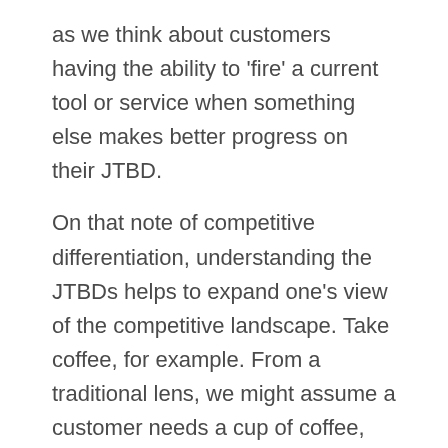as we think about customers having the ability to 'fire' a current tool or service when something else makes better progress on their JTBD.
On that note of competitive differentiation, understanding the JTBDs helps to expand one's view of the competitive landscape. Take coffee, for example. From a traditional lens, we might assume a customer needs a cup of coffee, without considering the JTBD they want to accomplish. Potential coffee competitors could include Starbucks, McDonald's, or even a local coffee store. The competitive landscape changes once we identify and put a focus on the customer's JTBD. Let's say, in this case, that the JTBD for the